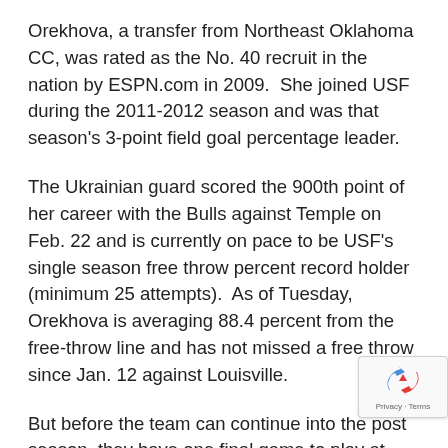Orekhova, a transfer from Northeast Oklahoma CC, was rated as the No. 40 recruit in the nation by ESPN.com in 2009.  She joined USF during the 2011-2012 season and was that season's 3-point field goal percentage leader.
The Ukrainian guard scored the 900th point of her career with the Bulls against Temple on Feb. 22 and is currently on pace to be USF's single season free throw percent record holder (minimum 25 attempts).  As of Tuesday, Orekhova is averaging 88.4 percent from the free-throw line and has not missed a free throw since Jan. 12 against Louisville.
But before the team can continue into the post season, they have one final game to play at home
[Figure (logo): reCAPTCHA badge with recycling arrows icon and Privacy / Terms text]